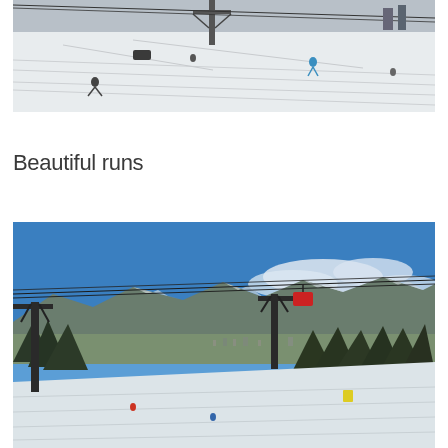[Figure (photo): Ski slope with skiers on a wide snowy run. A ski lift tower is visible in the center background. Several skiers are spread across the slope. The snow is groomed and bright white.]
Beautiful runs
[Figure (photo): View from a ski slope showing a chairlift with a gondola/chair carrying skiers. In the background is a panoramic mountain range with snow-covered peaks under a vivid blue sky with some clouds. Below are dense evergreen trees and a valley with a town visible in the distance.]